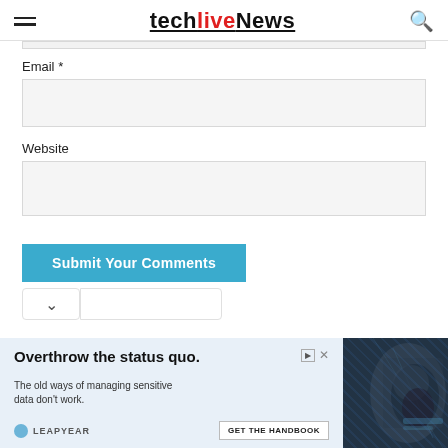techlivenews
Email *
Website
Submit Your Comments
[Figure (screenshot): Advertisement banner: 'Overthrow the status quo. The old ways of managing sensitive data don't work.' — LEAPYEAR, GET THE HANDBOOK]